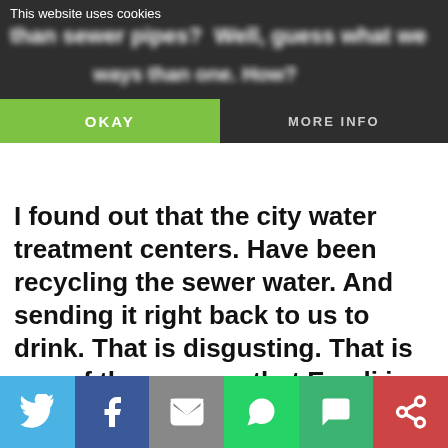This website uses cookies | OKAY | MORE INFO
I found out that the city water treatment centers. Have been recycling the sewer water. And sending it right back to us to drink. That is disgusting. That is one of the reasons that E-coli is in tap water. E-coli is a disease that comes from sewage. It started with cattle down the streams, and that is one of the ways people have been getting sick with E-Coli. But it is...
Twitter | Facebook | Email | WhatsApp | SMS | More